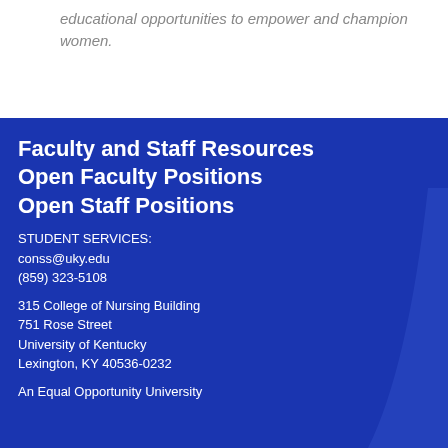educational opportunities to empower and champion women.
Faculty and Staff Resources
Open Faculty Positions
Open Staff Positions
STUDENT SERVICES:
conss@uky.edu
(859) 323-5108
315 College of Nursing Building
751 Rose Street
University of Kentucky
Lexington, KY 40536-0232
An Equal Opportunity University